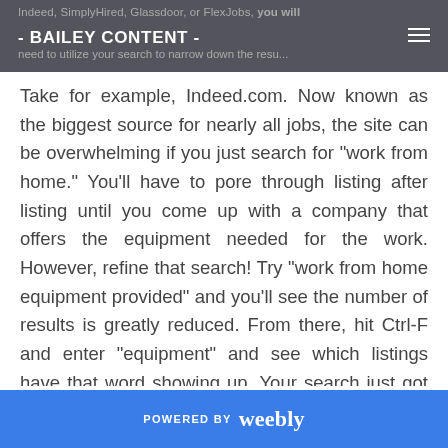Indeed, SimplyHired, Glassdoor, or FlexJobs, you will need to utilize your search to narrow down the results - BAILEY CONTENT -
Take for example, Indeed.com. Now known as the biggest source for nearly all jobs, the site can be overwhelming if you just search for “work from home.” You’ll have to pore through listing after listing until you come up with a company that offers the equipment needed for the work. However, refine that search! Try “work from home equipment provided” and you’ll see the number of results is greatly reduced. From there, hit Ctrl-F and enter “equipment” and see which listings have that word showing up. Your search just got a whole lot easier.
By doing exactly this daily, you will find newly posted
POWERED BY weebly